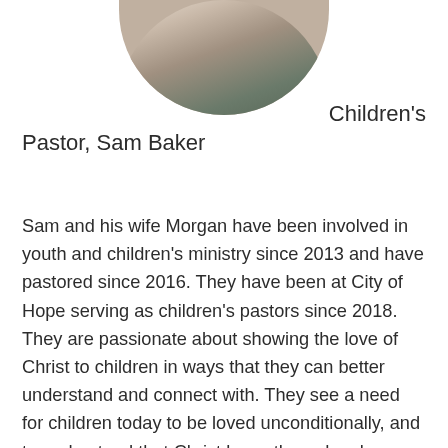[Figure (photo): Circular cropped photo of a couple, partially visible at the top of the page]
Children's Pastor, Sam Baker
Sam and his wife Morgan have been involved in youth and children's ministry since 2013 and have pastored since 2016. They have been at City of Hope serving as children's pastors since 2018. They are passionate about showing the love of Christ to children in ways that they can better understand and connect with. They see a need for children today to be loved unconditionally, and to understand that Christ loves them deeply.